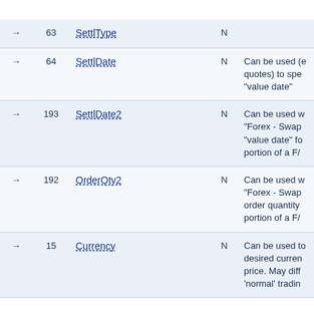|  | Tag | Field Name | Req'd | Comments |
| --- | --- | --- | --- | --- |
| → | 63 | SettlType | N |  |
| → | 64 | SettlDate | N | Can be used (e quotes) to spe "value date" |
| → | 193 | SettlDate2 | N | Can be used w "Forex - Swap "value date" fo portion of a F/ |
| → | 192 | OrderQty2 | N | Can be used w "Forex - Swap order quantity portion of a F/ |
| → | 15 | Currency | N | Can be used to desired curren price. May diff 'normal' tradin |